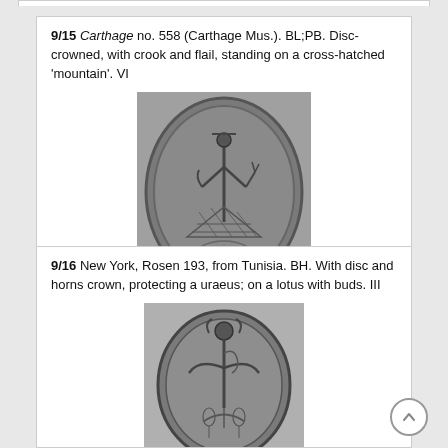9/15 Carthage no. 558 (Carthage Mus.). BL;PB. Disc-crowned, with crook and flail, standing on a cross-hatched 'mountain'. VI
[Figure (photo): Black and white photograph of an ancient oval scarab seal showing a disc-crowned figure with crook and flail standing on a cross-hatched mountain motif]
View larger image
9/16 New York, Rosen 193, from Tunisia. BH. With disc and horns crown, protecting a uraeus; on a lotus with buds. III
[Figure (photo): Black and white photograph of an ancient oval scarab seal showing a figure with disc and horns crown protecting a uraeus on a lotus with buds]